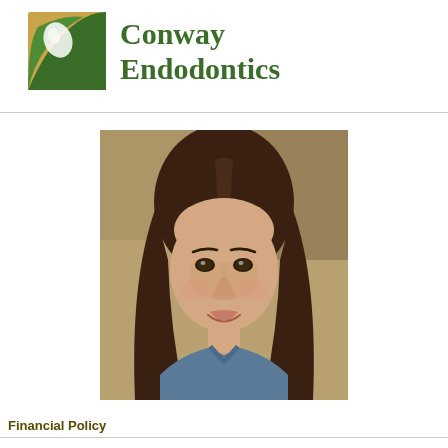[Figure (logo): Conway Endodontics logo: square icon with green arc and white oval on gold/green background, beside text 'Conway Endodontics' in dark green serif font]
[Figure (photo): Portrait photo of a young smiling girl with long straight dark brown hair, wearing a blue denim shirt, photographed against a blurred warm background]
Financial Policy